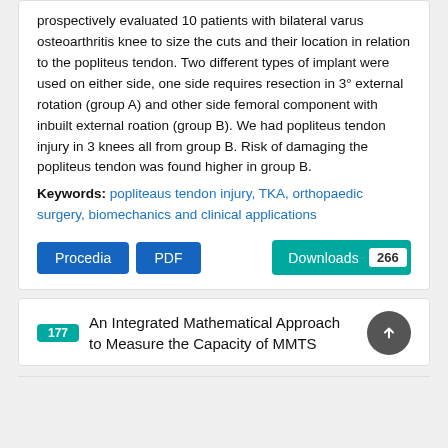prospectively evaluated 10 patients with bilateral varus osteoarthritis knee to size the cuts and their location in relation to the popliteus tendon. Two different types of implant were used on either side, one side requires resection in 3° external rotation (group A) and other side femoral component with inbuilt external roation (group B). We had popliteus tendon injury in 3 knees all from group B. Risk of damaging the popliteus tendon was found higher in group B.
Keywords: popliteaus tendon injury, TKA, orthopaedic surgery, biomechanics and clinical applications
177 An Integrated Mathematical Approach to Measure the Capacity of MMTS